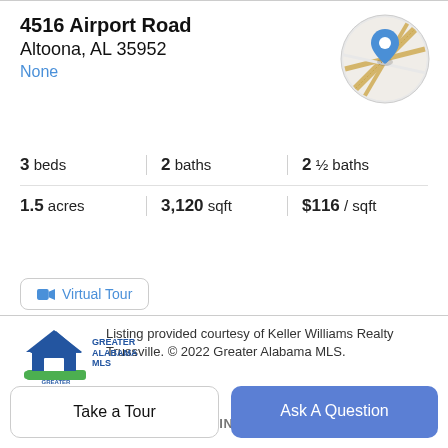4516 Airport Road
Altoona, AL 35952
None
[Figure (map): Circular map thumbnail showing a location pin on a street map]
3 beds | 2 baths | 2 ½ baths
1.5 acres | 3,120 sqft | $116 / sqft
Virtual Tour
[Figure (logo): Greater Alabama MLS logo — blue house with green grass and blue text]
Listing provided courtesy of Keller Williams Realty Trussville. © 2022 Greater Alabama MLS.
Property Description
BEST AND HIGHEST OFFERS IN BY SAT. JUNE 4 6PM
Take a Tour
Ask A Question